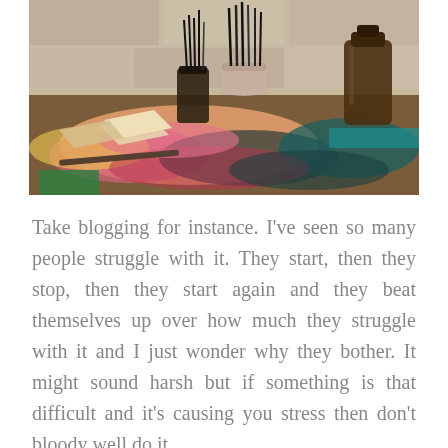[Figure (photo): An artist's messy studio table covered in colorful paint splatters and smears, with jars of paintbrushes and a dark glass bottle, set against a rough stone wall background.]
Take blogging for instance. I've seen so many people struggle with it. They start, then they stop, then they start again and they beat themselves up over how much they struggle with it and I just wonder why they bother. It might sound harsh but if something is that difficult and it's causing you stress then don't bloody well do it.